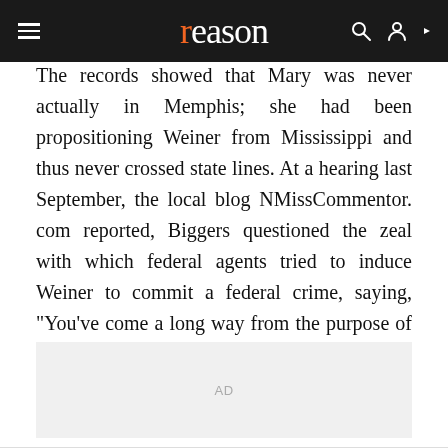reason
The records showed that Mary was never actually in Memphis; she had been propositioning Weiner from Mississippi and thus never crossed state lines. At a hearing last September, the local blog NMissCommentor. com reported, Biggers questioned the zeal with which federal agents tried to induce Weiner to commit a federal crime, saying, "You've come a long way from the purpose of this statute."
[Figure (other): Advertisement placeholder box with 'AD' label]
At press time, the government is still planning to try Weiner.